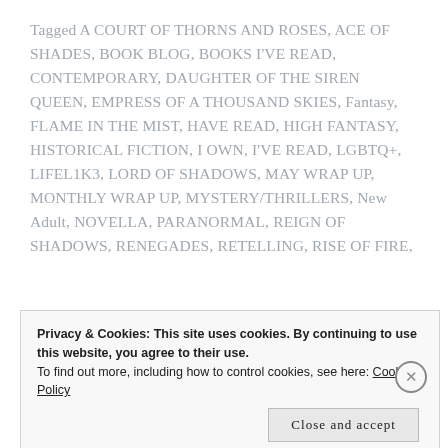Tagged A COURT OF THORNS AND ROSES, ACE OF SHADES, BOOK BLOG, BOOKS I'VE READ, CONTEMPORARY, DAUGHTER OF THE SIREN QUEEN, EMPRESS OF A THOUSAND SKIES, Fantasy, FLAME IN THE MIST, HAVE READ, HIGH FANTASY, HISTORICAL FICTION, I OWN, I'VE READ, LGBTQ+, LIFEL1K3, LORD OF SHADOWS, MAY WRAP UP, MONTHLY WRAP UP, MYSTERY/THRILLERS, New Adult, NOVELLA, PARANORMAL, REIGN OF SHADOWS, RENEGADES, RETELLING, RISE OF FIRE,
Privacy & Cookies: This site uses cookies. By continuing to use this website, you agree to their use.
To find out more, including how to control cookies, see here: Cookie Policy
Close and accept